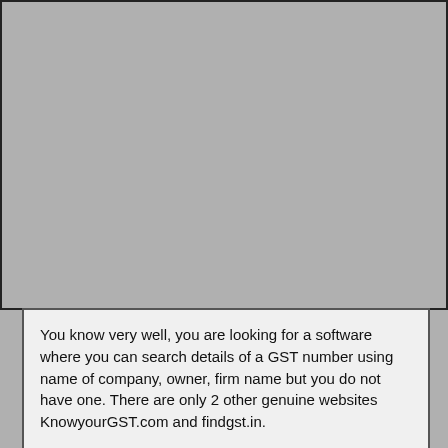[Figure (other): Large gray placeholder area occupying the upper portion of the page]
You know very well, you are looking for a software where you can search details of a GST number using name of company, owner, firm name but you do not have one. There are only 2 other genuine websites KnowyourGST.com and findgst.in.
We source our data from above websites. We are better because, we give you a feel of actually using a desktop software. You will go back to your